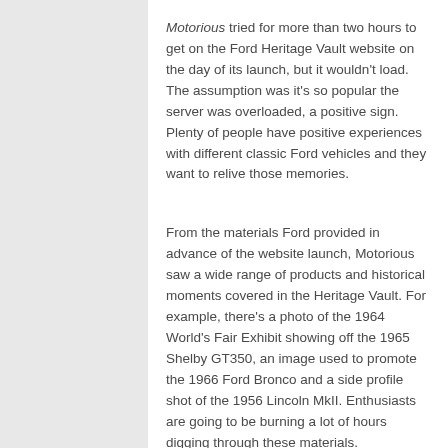Motorious tried for more than two hours to get on the Ford Heritage Vault website on the day of its launch, but it wouldn't load. The assumption was it's so popular the server was overloaded, a positive sign. Plenty of people have positive experiences with different classic Ford vehicles and they want to relive those memories.
From the materials Ford provided in advance of the website launch, Motorious saw a wide range of products and historical moments covered in the Heritage Vault. For example, there's a photo of the 1964 World's Fair Exhibit showing off the 1965 Shelby GT350, an image used to promote the 1966 Ford Bronco and a side profile shot of the 1956 Lincoln MkII. Enthusiasts are going to be burning a lot of hours digging through these materials.